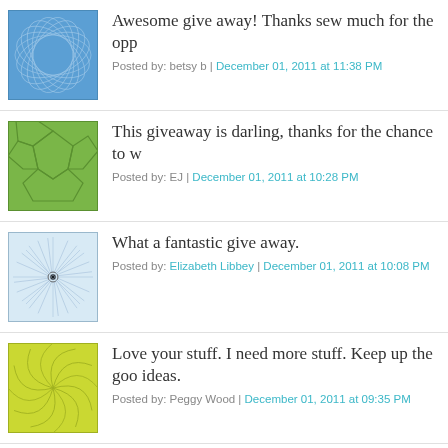[Figure (illustration): Blue geometric circular pattern avatar]
Awesome give away! Thanks sew much for the opp
Posted by: betsy b | December 01, 2011 at 11:38 PM
[Figure (illustration): Green geometric soccer ball pattern avatar]
This giveaway is darling, thanks for the chance to w
Posted by: EJ | December 01, 2011 at 10:28 PM
[Figure (illustration): Light blue spiral/sunburst pattern avatar]
What a fantastic give away.
Posted by: Elizabeth Libbey | December 01, 2011 at 10:08 PM
[Figure (illustration): Yellow-green leaf/arc pattern avatar]
Love your stuff. I need more stuff. Keep up the goo ideas.
Posted by: Peggy Wood | December 01, 2011 at 09:35 PM
[Figure (illustration): Yellow-green leaf/arc pattern avatar (same style)]
This would make my holidays a little merrier.
Posted by: Angela Siburt | December 01, 2011 at 09:35 PM